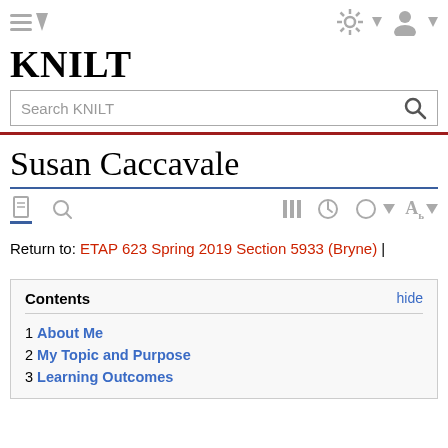KNILT
Susan Caccavale
Return to: ETAP 623 Spring 2019 Section 5933 (Bryne) |
| Contents | hide |
| --- | --- |
| 1 About Me |  |
| 2 My Topic and Purpose |  |
| 3 Learning Outcomes |  |